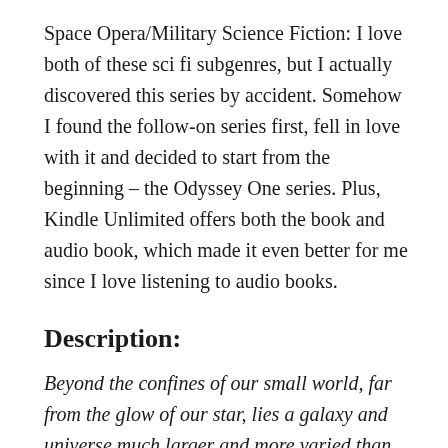Space Opera/Military Science Fiction: I love both of these sci fi subgenres, but I actually discovered this series by accident. Somehow I found the follow-on series first, fell in love with it and decided to start from the beginning – the Odyssey One series. Plus, Kindle Unlimited offers both the book and audio book, which made it even better for me since I love listening to audio books.
Description:
Beyond the confines of our small world, far from the glow of our star, lies a galaxy and universe much larger and more varied than anyone on Earth can possibly imagine. For the new NAC spacecraft Odyssey and her